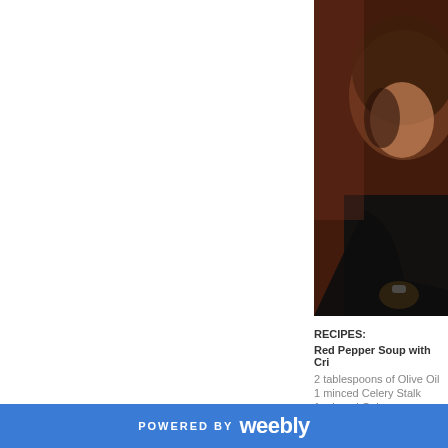[Figure (photo): Dark portrait photo of a person with dark hair, wearing a dark outfit, against a dark background. Only the right portion of the image is visible.]
RECIPES:
Red Pepper Soup with Cri
2 tablespoons of Olive Oil
1 minced Celery Stalk
1 minced Onion
POWERED BY weebly